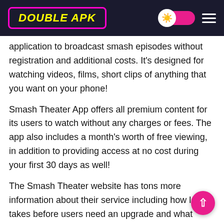DOUBLE APK
application to broadcast smash episodes without registration and additional costs. It's designed for watching videos, films, short clips of anything that you want on your phone!
Smash Theater App offers all premium content for its users to watch without any charges or fees. The app also includes a month's worth of free viewing, in addition to providing access at no cost during your first 30 days as well!
The Smash Theater website has tons more information about their service including how long it takes before users need an upgrade and what people are saying on social media sites like Facebook where they discuss the newest additions from this innovative company who is making waves with these amazing new features that make TV so much easier than ever before, especially if you're trying something different like streaming live video programming direct2yourphone instead relying